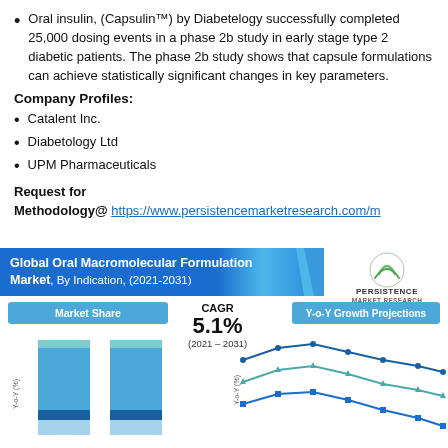Oral insulin, (Capsulin™) by Diabetelogy successfully completed 25,000 dosing events in a phase 2b study in early stage type 2 diabetic patients. The phase 2b study shows that capsule formulations can achieve statistically significant changes in key parameters.
Company Profiles:
Catalent Inc.
Diabetology Ltd
UPM Pharmaceuticals
Request for Methodology@ https://www.persistencemarketresearch.com/m
[Figure (infographic): Global Oral Macromolecular Formulation Market, By Indication, (2021-2031) infographic showing CAGR 5.1% (2021-2031), Market Share bar chart on left, Y-o-Y Growth Projections line chart on right, with Persistence Market Research logo.]